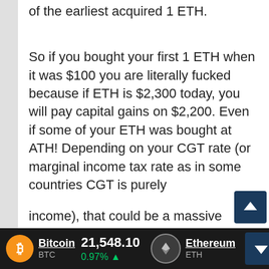of the earliest acquired 1 ETH.
So if you bought your first 1 ETH when it was $100 you are literally fucked because if ETH is $2,300 today, you will pay capital gains on $2,200. Even if some of your ETH was bought at ATH! Depending on your CGT rate (or marginal income tax rate as in some countries CGT is purely
income), that could be a massive amount that exceeds whatever discount or benefit you achieved by buying in Crypto rather than fiat.
Bitcoin BTC 21,548.10 0.97% ▲  Ethereum ETH